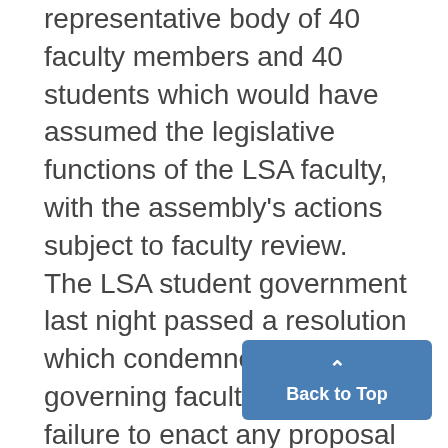representative body of 40 faculty members and 40 students which would have assumed the legislative functions of the LSA faculty, with the assembly's actions subject to faculty review. The LSA student government last night passed a resolution which condemned the governing faculty for "its failure to enact any proposal providing for student involvement and decision-making." The statement went on to say,